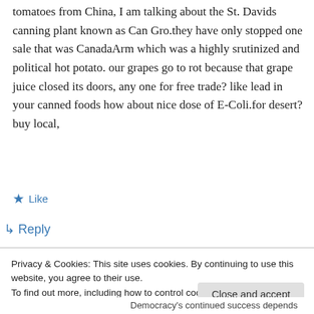tomatoes from China, I am talking about the St. Davids canning plant known as Can Gro.they have only stopped one sale that was CanadaArm which was a highly srutinized and political hot potato. our grapes go to rot because that grape juice closed its doors, any one for free trade? like lead in your canned foods how about nice dose of E-Coli.for desert? buy local,
★ Like
↳ Reply
Privacy & Cookies: This site uses cookies. By continuing to use this website, you agree to their use.
To find out more, including how to control cookies, see here: Cookie Policy
Close and accept
Democracy's continued success depends on